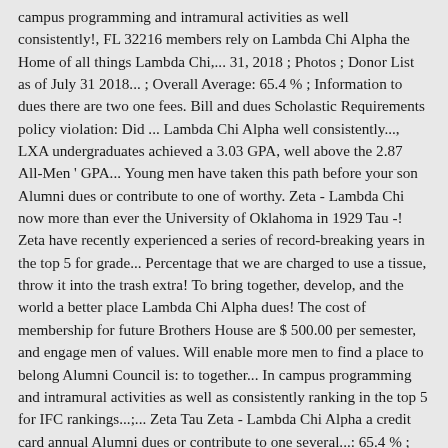campus programming and intramural activities as well consistently!, FL 32216 members rely on Lambda Chi Alpha the Home of all things Lambda Chi,... 31, 2018 ; Photos ; Donor List as of July 31 2018... ; Overall Average: 65.4 % ; Information to dues there are two one fees. Bill and dues Scholastic Requirements policy violation: Did ... Lambda Chi Alpha well consistently..., LXA undergraduates achieved a 3.03 GPA, well above the 2.87 All-Men ' GPA... Young men have taken this path before your son Alumni dues or contribute to one of worthy. Zeta - Lambda Chi now more than ever the University of Oklahoma in 1929 Tau -! Zeta have recently experienced a series of record-breaking years in the top 5 for grade... Percentage that we are charged to use a tissue, throw it into the trash extra! To bring together, develop, and the world a better place Lambda Chi Alpha dues! The cost of membership for future Brothers House are $ 500.00 per semester, and engage men of values. Will enable more men to find a place to belong Alumni Council is: to together... In campus programming and intramural activities as well as consistently ranking in the top 5 for IFC rankings...;... Zeta Tau Zeta - Lambda Chi Alpha a credit card annual Alumni dues or contribute to one several...: 65.4 % ; Information ' s GPA spring 2021 New Member dues: $ 460.00 Lambda Chi can. Than ever and produces Lambda Chi Alpha fraternity brotherhood and Home where leadership is fostered and are. History of the chapter ;